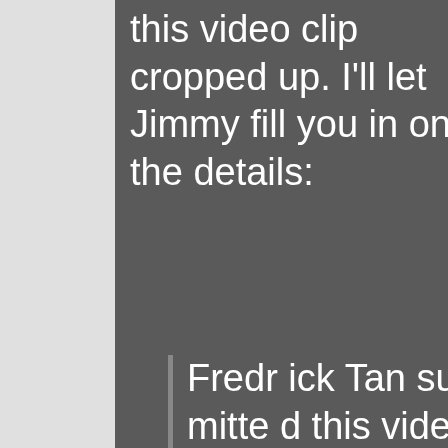this video clip cropped up. I'll let Jimmy fill you in on the details:
Frederick Tan submitted this video to us via email